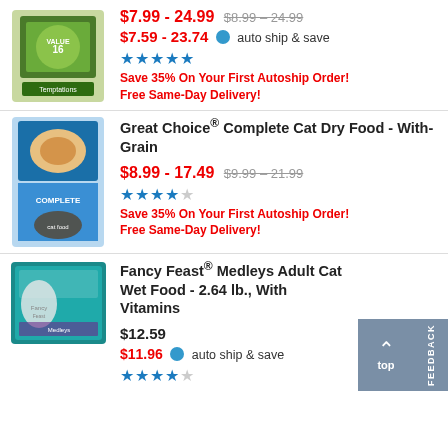[Figure (photo): Temptations cat food bag, value size 16]
$7.99 - 24.99 (strikethrough: $8.99 – 24.99)
$7.59 - 23.74 auto ship & save
★★★★★
Save 35% On Your First Autoship Order!
Free Same-Day Delivery!
[Figure (photo): Great Choice Complete cat dry food bag with cat image]
Great Choice® Complete Cat Dry Food - With-Grain
$8.99 - 17.49 (strikethrough: $9.99 – 21.99)
★★★★☆
Save 35% On Your First Autoship Order!
Free Same-Day Delivery!
[Figure (photo): Fancy Feast Medleys Adult Cat Wet Food box, 2.64 lb.]
Fancy Feast® Medleys Adult Cat Wet Food - 2.64 lb., With Vitamins
$12.59
$11.96 auto ship & save
★★★★☆